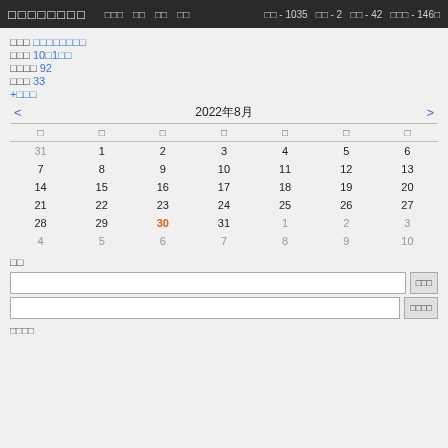□□□□□□□□  □□□  □□  □□  □□  □□ - 1035  □□ - 2  □□ - 42  □□□ - 146□
□□□ □□□□□□□□
□□□ 10□1□□
□□□□ 92
□□□ 33
+□□□
[Figure (other): Calendar showing August 2022 (2022年8月) with navigation arrows. Days of week headers and dates: week rows 31/1/2/3/4/5/6, 7/8/9/10/11/12/13, 14/15/16/17/18/19/20, 21/22/23/24/25/26/27, 28/29/30(highlighted orange)/31/1/2/3, 4/5/6/7/8/9/10]
□□
□□□ (input field with button)
□□□□ (input field with button)
□□□□